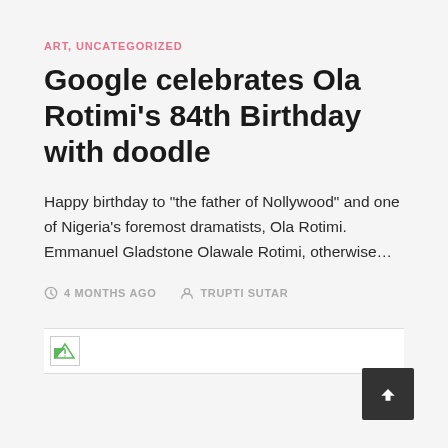ART, UNCATEGORIZED
Google celebrates Ola Rotimi’s 84th Birthday with doodle
Happy birthday to “the father of Nollywood” and one of Nigeria’s foremost dramatists, Ola Rotimi. Emmanuel Gladstone Olawale Rotimi, otherwise…
4 MONTHS AGO   TRUPTI SUTAR
[Figure (other): Broken image placeholder with green triangle icon]